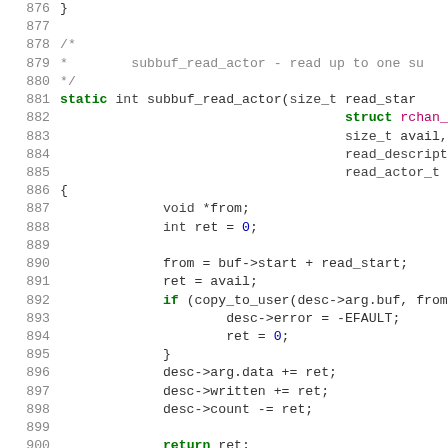[Figure (screenshot): Source code listing showing lines 876-903 of a C source file implementing subbuf_read_actor function with syntax highlighting. Line numbers in grey on the left, keywords in green/bold, type names in pink, numeric literals in blue, rest in dark grey.]